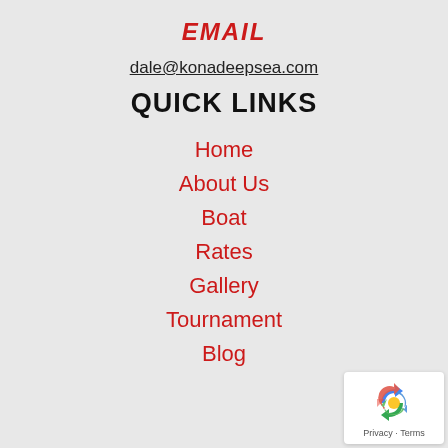EMAIL
dale@konadeepsea.com
QUICK LINKS
Home
About Us
Boat
Rates
Gallery
Tournament
Blog
[Figure (logo): Google reCAPTCHA badge with recycling-style arrow icon and Privacy - Terms text]